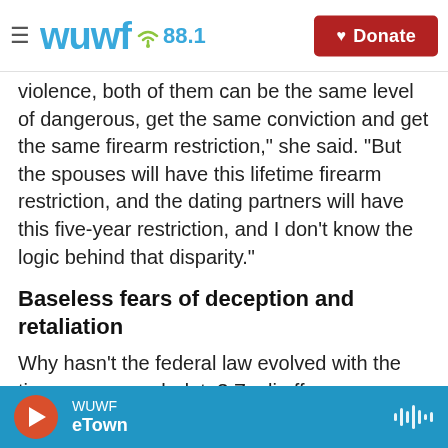WUWF 88.1 — Donate
violence, both of them can be the same level of dangerous, get the same conviction and get the same firearm restriction," she said. "But the spouses will have this lifetime firearm restriction, and the dating partners will have this five-year restriction, and I don't know the logic behind that disparity."
Baseless fears of deception and retaliation
Why hasn't the federal law evolved with the times or research data? Zeoli offers one explanation:
"I think that there has always been a fear that
WUWF eTown